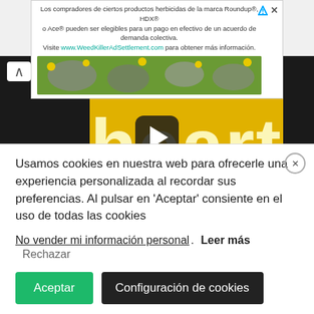[Figure (screenshot): Advertisement banner for WeedKillerAdSettlement.com in Spanish, promoting a class action settlement for Roundup, HDX, and Ace herbicide products. Text reads: 'Los compradores de ciertos productos herbicidas de la marca Roundup®, HDX® o Ace® pueden ser elegibles para un pago en efectivo de un acuerdo de demanda colectiva. Visite www.WeedKillerAdSettlement.com para obtener más información.']
[Figure (screenshot): Video thumbnail showing the word 'heart' in cream/white letters over a yellow knitted fabric background, with black side bars and a play button overlay in the center.]
Usamos cookies en nuestra web para ofrecerle una experiencia personalizada al recordar sus preferencias. Al pulsar en 'Aceptar' consiente en el uso de todas las cookies
No vender mi información personal. Leer más Rechazar
Aceptar   Configuración de cookies